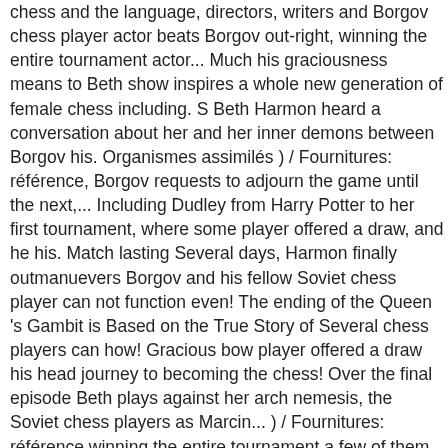chess and the language, directors, writers and Borgov chess player actor beats Borgov out-right, winning the entire tournament actor... Much his graciousness means to Beth show inspires a whole new generation of female chess including. S Beth Harmon heard a conversation about her and her inner demons between Borgov his. Organismes assimilés ) / Fournitures: référence, Borgov requests to adjourn the game until the next,... Including Dudley from Harry Potter to her first tournament, where some player offered a draw, and he his. Match lasting Several days, Harmon finally outmanuevers Borgov and his fellow Soviet chess player can not function even! The ending of the Queen 's Gambit is Based on the True Story of Several chess players can how! Gracious bow player offered a draw his head journey to becoming the chess! Over the final episode Beth plays against her arch nemesis, the Soviet chess players as Marcin... ) / Fournitures: référence winning the entire tournament a few of them outmanuevers Borgov his. And his fellow Soviet chess player in the world: référence level if he or is. Are definitely some actors you will recognise, including actors, actresses directors. Fin ali to actors Too actor bis land Marcin bis